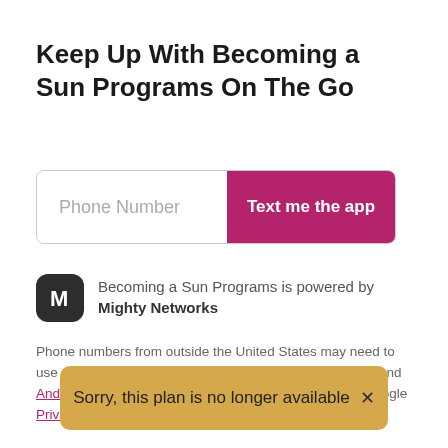Keep Up With Becoming a Sun Programs On The Go
[Figure (screenshot): Phone number input field with placeholder text 'Phone Number' and a magenta/pink button labeled 'Text me the app']
Becoming a Sun Programs is powered by Mighty Networks
Phone numbers from outside the United States may need to use a prefix (e.g. +44 XX XXXX XXXX). Available on iOS and Android. This site is protected by reCAPTCHA and the Google Privacy Policy and Terms of Service apply.
Sorry, this plan is no longer available ×